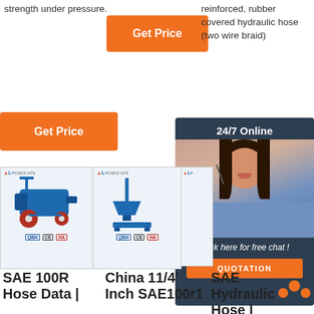strength under pressure.
[Figure (photo): Orange Get Price button (top center)]
reinforced, rubber covered hydraulic hose (two wire braid)
[Figure (photo): Orange Get Price button (left side)]
[Figure (photo): 24/7 Online chat widget with female customer service agent, Click here for free chat!, QUOTATION button]
[Figure (photo): Blue industrial grouting/plastering machine on wheels with red wheels, certification badges: QBH, CE, HA]
[Figure (photo): Blue industrial funnel/grouting machine, certification badges: QBH, CE, HA]
SAE 100R Hose Data |
China 11/4' Inch SAE100r1
SAE Hydraulic Hose |